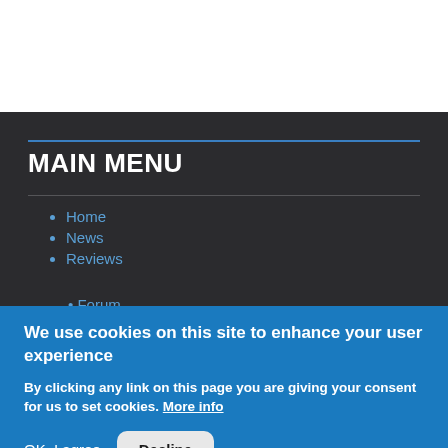MAIN MENU
Home
News
Reviews
Forum
We use cookies on this site to enhance your user experience
By clicking any link on this page you are giving your consent for us to set cookies. More info
OK, I agree
Decline